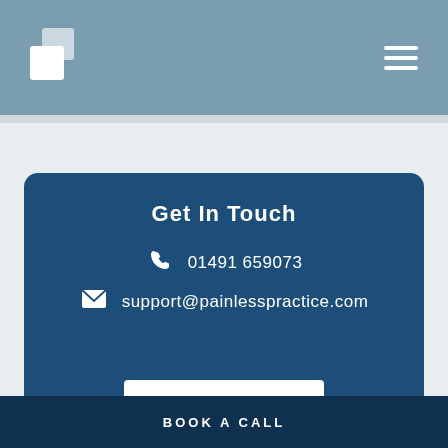[Figure (logo): Painless Practice logo — two overlapping white rectangles forming a step pattern on a steel-blue header bar]
Get In Touch
01491 659073
support@painlesspractice.com
BOOK A CALL
BOOK A CALL